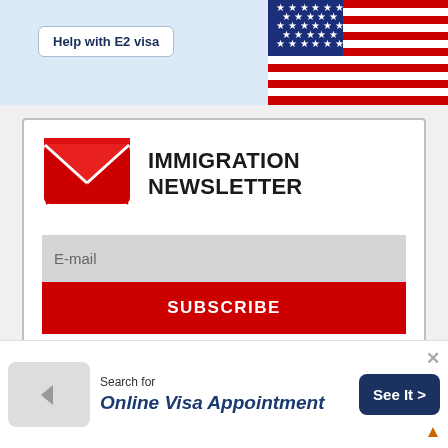[Figure (screenshot): Top banner with light blue background showing 'Help with E2 visa' button and an American flag on the right]
Help with E2 visa
[Figure (infographic): Immigration Newsletter signup box with red envelope icon, title 'IMMIGRATION NEWSLETTER', email input field and red SUBSCRIBE button]
IMMIGRATION NEWSLETTER
E-mail
SUBSCRIBE
[Figure (infographic): Dark navy blue London Office section with world map silhouette in background]
LONDON OFFICE
[Figure (screenshot): Ad banner at the bottom with arrow icon, 'Search for' label, 'Online Visa Appointment' text, 'See It >' button, and close X button]